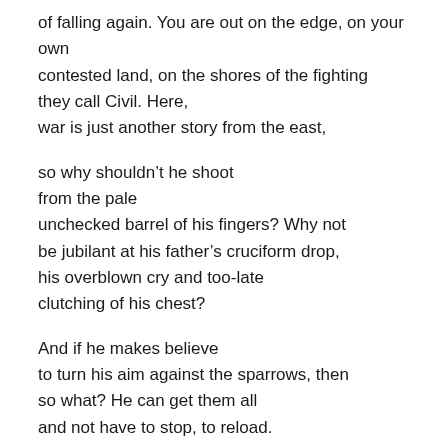of falling again. You are out on the edge, on your own
contested land, on the shores of the fighting
they call Civil. Here,
war is just another story from the east,

so why shouldn't he shoot
from the pale
unchecked barrel of his fingers? Why not
be jubilant at his father's cruciform drop,
his overblown cry and too-late
clutching of his chest?

And if he makes believe
to turn his aim against the sparrows, then
so what? He can get them all
and not have to stop, to reload.

      On the porch,